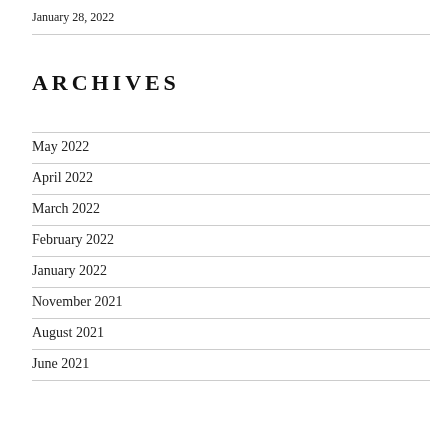January 28, 2022
ARCHIVES
May 2022
April 2022
March 2022
February 2022
January 2022
November 2021
August 2021
June 2021